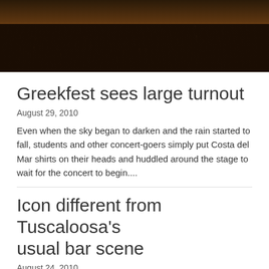[Figure (photo): Crowd of people from behind, lit with warm amber/orange stage lighting, silhouettes against a dark background]
Greekfest sees large turnout
August 29, 2010
Even when the sky began to darken and the rain started to fall, students and other concert-goers simply put Costa del Mar shirts on their heads and huddled around the stage to wait for the concert to begin....
Icon different from Tuscaloosa's usual bar scene
August 24, 2010
Tuscaloosa has a number of bars where students can go, offering a